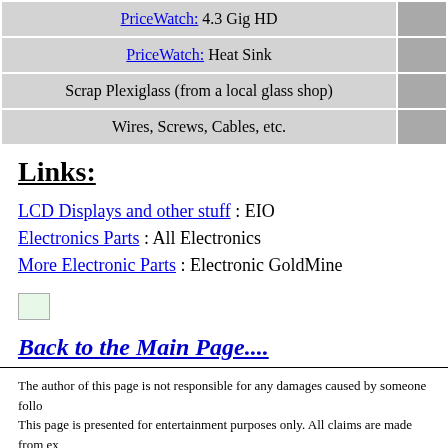| PriceWatch: 4.3 Gig HD |  |
| PriceWatch: Heat Sink |  |
| Scrap Plexiglass (from a local glass shop) |  |
| Wires, Screws, Cables, etc. |  |
Links:
LCD Displays and other stuff : EIO
Electronics Parts : All Electronics
More Electronic Parts : Electronic GoldMine
[Figure (illustration): Small image/icon placeholder]
Back to the Main Page....
The author of this page is not responsible for any damages caused by someone follo...
This page is presented for entertainment purposes only. All claims are made from ex...
Various trademarks on items are the property of their respective owners.
Send comments or corrections to: Jeff Mucha
©2001 Jeff Mucha. All Rights Reserved.